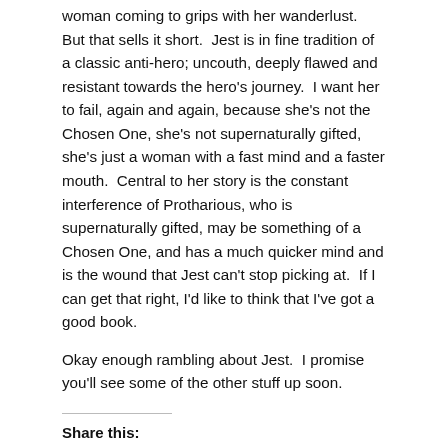woman coming to grips with her wanderlust.  But that sells it short.  Jest is in fine tradition of a classic anti-hero; uncouth, deeply flawed and resistant towards the hero's journey.  I want her to fail, again and again, because she's not the Chosen One, she's not supernaturally gifted, she's just a woman with a fast mind and a faster mouth.  Central to her story is the constant interference of Protharious, who is supernaturally gifted, may be something of a Chosen One, and has a much quicker mind and is the wound that Jest can't stop picking at.  If I can get that right, I'd like to think that I've got a good book.
Okay enough rambling about Jest.  I promise you'll see some of the other stuff up soon.
Share this:
[Figure (other): Four circular share buttons: email (grey), print (grey), Twitter (blue bird icon), Facebook (blue 'f' icon)]